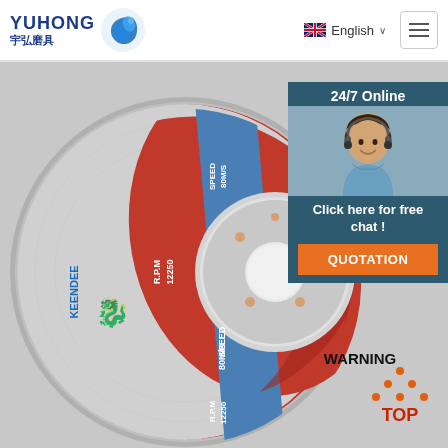[Figure (logo): YUHONG logo with Chinese characters 宇弘磨具 and blue dragon/wave icon]
English ∨
[Figure (photo): Cutting disc/grinding wheel product photo: T41 A46SBF 125x1.6x22.2mm, R.P.M 12250, SPEED 80M/S, WARNING label, KEENDEE brand, ISO 9001 certified]
[Figure (photo): Customer service agent photo - woman with headset smiling]
24/7 Online
Click here for free chat !
QUOTATION
[Figure (illustration): TOP badge with orange dot pattern triangle and TOP text in red]